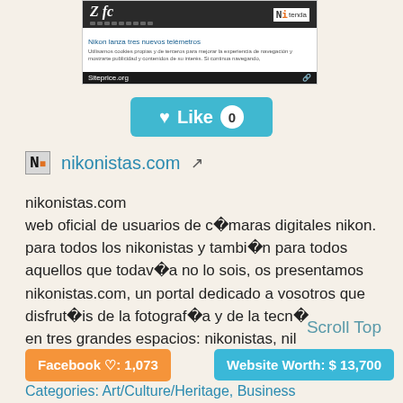[Figure (screenshot): Screenshot of nikonistas.com website showing Nikon Zfc camera headline and Siteprice.org overlay]
♥ Like 0
nikonistas.com ↗
nikonistas.com
web oficial de usuarios de c▪maras digitales nikon.
para todos los nikonistas y tambi▪n para todos aquellos que todav▪a no lo sois, os presentamos nikonistas.com, un portal dedicado a vosotros que disfrut▪is de la fotograf▪a y de la tecno en tres grandes espacios: nikonistas, nil nikonistas pro.
Scroll Top
Facebook ♡: 1,073
Website Worth: $ 13,700
Categories: Art/Culture/Heritage, Business